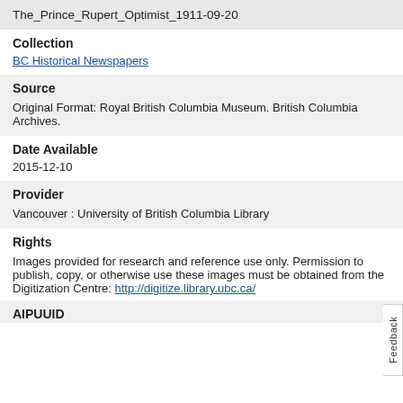The_Prince_Rupert_Optimist_1911-09-20
Collection
BC Historical Newspapers
Source
Original Format: Royal British Columbia Museum. British Columbia Archives.
Date Available
2015-12-10
Provider
Vancouver : University of British Columbia Library
Rights
Images provided for research and reference use only. Permission to publish, copy, or otherwise use these images must be obtained from the Digitization Centre: http://digitize.library.ubc.ca/
AIPUUID